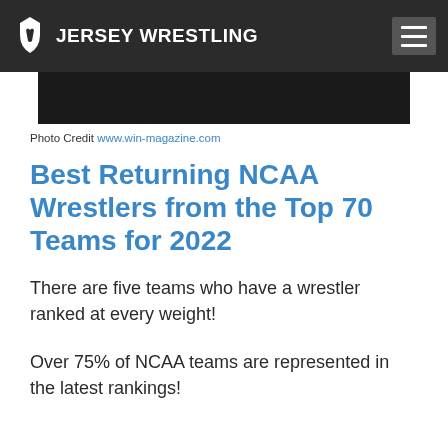JERSEY WRESTLING
Photo Credit www.win-magazine.com
Best Returning NCAA Wrestlers from the Top 70 Teams for 2022
There are five teams who have a wrestler ranked at every weight!
Over 75% of NCAA teams are represented in the latest rankings!